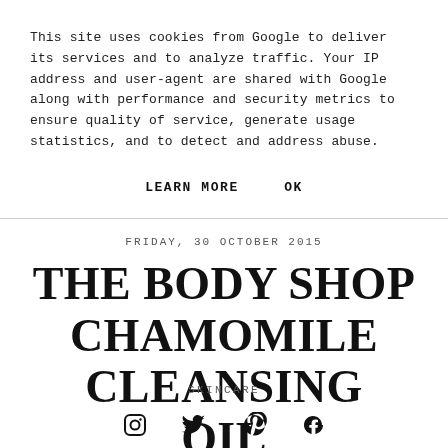This site uses cookies from Google to deliver its services and to analyze traffic. Your IP address and user-agent are shared with Google along with performance and security metrics to ensure quality of service, generate usage statistics, and to detect and address abuse.
LEARN MORE    OK
FRIDAY, 30 OCTOBER 2015
THE BODY SHOP CHAMOMILE CLEANSING OIL
SKINCARE